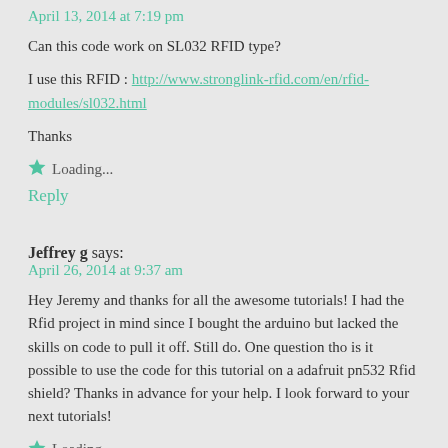April 13, 2014 at 7:19 pm
Can this code work on SL032 RFID type?
I use this RFID : http://www.stronglink-rfid.com/en/rfid-modules/sl032.html
Thanks
Loading...
Reply
Jeffrey g says:
April 26, 2014 at 9:37 am
Hey Jeremy and thanks for all the awesome tutorials! I had the Rfid project in mind since I bought the arduino but lacked the skills on code to pull it off. Still do. One question tho is it possible to use the code for this tutorial on a adafruit pn532 Rfid shield? Thanks in advance for your help. I look forward to your next tutorials!
Loading...